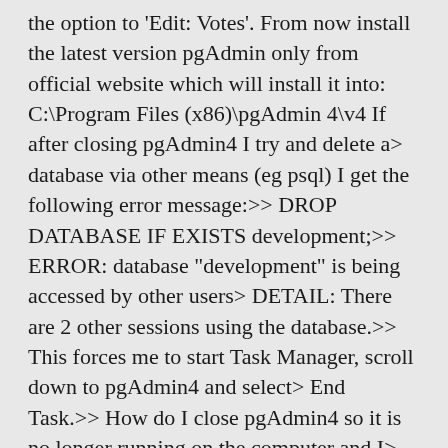the option to 'Edit: Votes'. From now install the latest version pgAdmin only from official website which will install it into: C:\Program Files (x86)\pgAdmin 4\v4 If after closing pgAdmin4 I try and delete a> database via other means (eg psql) I get the following error message:>> DROP DATABASE IF EXISTS development;>> ERROR: database "development" is being accessed by other users> DETAIL: There are 2 other sessions using the database.>> This forces me to start Task Manager, scroll down to pgAdmin4 and select> End Task.>> How do I close pgAdmin4 so it is no longer running on the computer and I> can avoid these nuisance steps.>> Thanks,>> George>>>>>, Copyright © 1996-2020 The